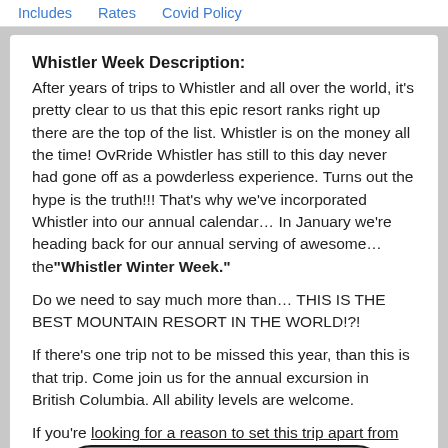Includes   Rates   Covid Policy
Whistler Week Description:
After years of trips to Whistler and all over the world, it's pretty clear to us that this epic resort ranks right up there are the top of the list. Whistler is on the money all the time! OvRride Whistler has still to this day never had gone off as a powderless experience. Turns out the hype is the truth!!! That's why we've incorporated Whistler into our annual calendar… In January we're heading back for our annual serving of awesome… the“Whistler Winter Week.”
Do we need to say much more than… THIS IS THE BEST MOUNTAIN RESORT IN THE WORLD!?!
If there’s one trip not to be missed this year, than this is that trip. Come join us for the annual excursion in British Columbia. All ability levels are welcome.
If you’re looking for a reason to set this trip apart from others, just legendary
[Figure (other): Book Now button with calendar icon, rounded pill shape, cyan/teal color]
There should be No Winter Without Whistler!!!